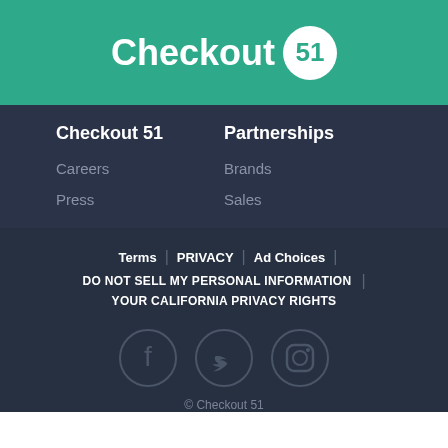[Figure (logo): Checkout 51 logo with white text and circular badge containing '51' on teal background]
Checkout 51
Partnerships
Careers
Press
Brands
Sales
Terms | PRIVACY | Ad Choices | DO NOT SELL MY PERSONAL INFORMATION | YOUR CALIFORNIA PRIVACY RIGHTS
[Figure (other): Social media icons: Facebook, Twitter, Instagram in circles]
© Checkout 51